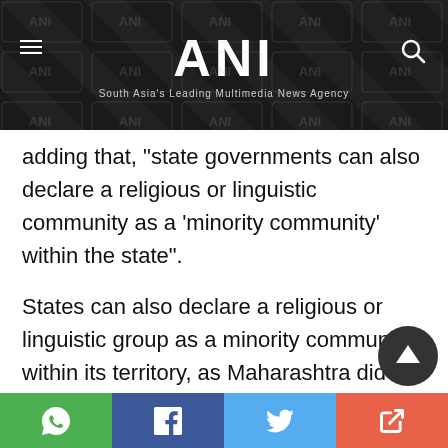ANI — South Asia's Leading Multimedia News Agency
adding that, "state governments can also declare a religious or linguistic community as a 'minority community' within the state".
States can also declare a religious or linguistic group as a minority community within its territory, as Maharashtra did in the case of Jews in 2016, Karnataka notified Urdu, Telugu, Tamil, Malayalam, Marathi, Tulu, Lam…